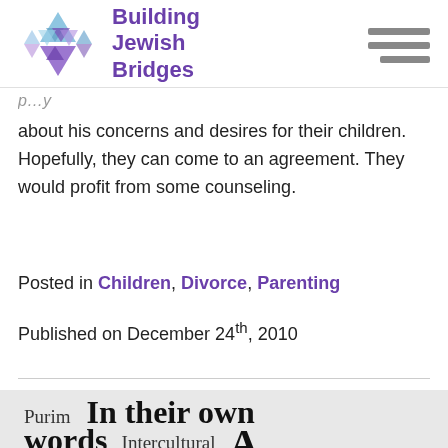[Figure (logo): Building Jewish Bridges logo with Star of David made of triangles in blue and purple, with text 'Building Jewish Bridges' in purple]
about his concerns and desires for their children. Hopefully, they can come to an agreement. They would profit from some counseling.
Posted in Children, Divorce, Parenting
Published on December 24th, 2010
Purim  In their own words  Intercultural  A